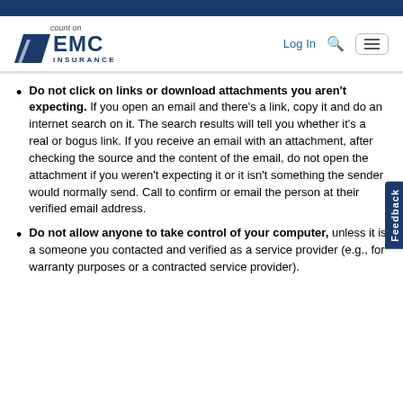[Figure (logo): EMC Insurance logo with 'count on' tagline, blue chevron/parallelogram shape, EMC in large bold text, INSURANCE below]
Do not click on links or download attachments you aren't expecting. If you open an email and there's a link, copy it and do an internet search on it. The search results will tell you whether it's a real or bogus link. If you receive an email with an attachment, after checking the source and the content of the email, do not open the attachment if you weren't expecting it or it isn't something the sender would normally send. Call to confirm or email the person at their verified email address.
Do not allow anyone to take control of your computer, unless it is a someone you contacted and verified as a service provider (e.g., for warranty purposes or a contracted service provider).